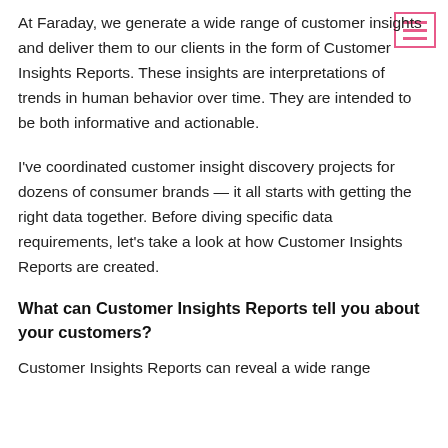At Faraday, we generate a wide range of customer insights and deliver them to our clients in the form of Customer Insights Reports. These insights are interpretations of trends in human behavior over time. They are intended to be both informative and actionable.
I've coordinated customer insight discovery projects for dozens of consumer brands — it all starts with getting the right data together. Before diving specific data requirements, let's take a look at how Customer Insights Reports are created.
What can Customer Insights Reports tell you about your customers?
Customer Insights Reports can reveal a wide range